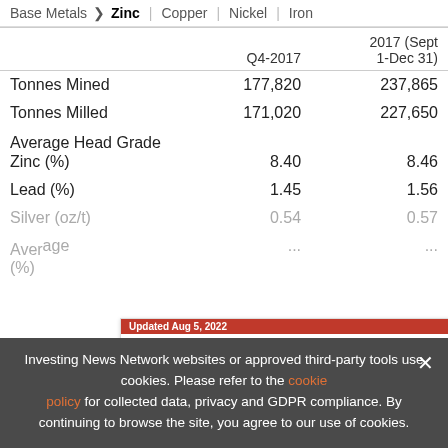Base Metals > Zinc | Copper | Nickel | Iron
|  | Q4-2017 | 2017 (Sept 1-Dec 31) |
| --- | --- | --- |
| Tonnes Mined | 177,820 | 237,865 |
| Tonnes Milled | 171,020 | 227,650 |
| Average Head Grade Zinc (%) | 8.40 | 8.46 |
| Lead (%) | 1.45 | 1.56 |
| Silver (oz/t) | 0.54 | 0.57 |
| Aver... (%) | ... | ... |
[Figure (screenshot): Ad banner: TOP NICKEL Stocks, Trends, Forecasts – 2022 Nickel Outlook Report. Updated Aug 5, 2022. INN logo.]
Investing News Network websites or approved third-party tools use cookies. Please refer to the cookie policy for collected data, privacy and GDPR compliance. By continuing to browse the site, you agree to our use of cookies.